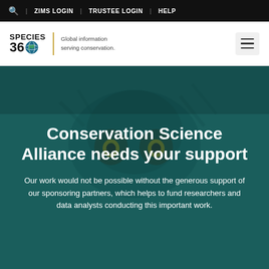🔍  |  ZIMS LOGIN  |  TRUSTEE LOGIN  |  HELP
[Figure (logo): Species 360 logo with globe icon and tagline 'Global information serving conservation.']
Conservation Science Alliance needs your support
Our work would not be possible without the generous support of our sponsoring partners, which helps to fund researchers and data analysts conducting this important work.